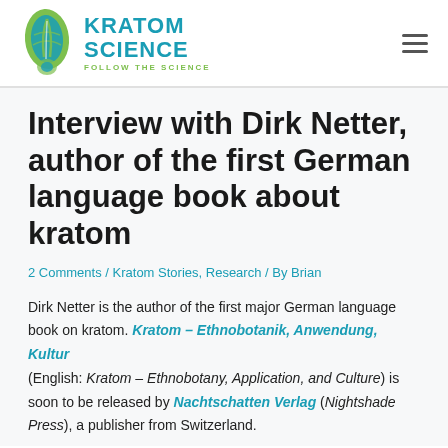KRATOM SCIENCE — FOLLOW THE SCIENCE
Interview with Dirk Netter, author of the first German language book about kratom
2 Comments / Kratom Stories, Research / By Brian
Dirk Netter is the author of the first major German language book on kratom. Kratom – Ethnobotanik, Anwendung, Kultur (English: Kratom – Ethnobotany, Application, and Culture) is soon to be released by Nachtschatten Verlag (Nightshade Press), a publisher from Switzerland.
In 2018, Netter founded HIPF, or Hochschulgruppe für